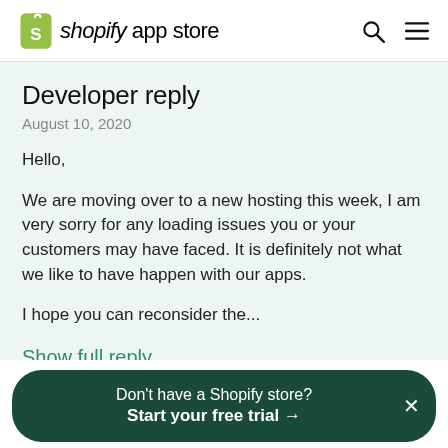shopify app store
Developer reply
August 10, 2020
Hello,

We are moving over to a new hosting this week, I am very sorry for any loading issues you or your customers may have faced. It is definitely not what we like to have happen with our apps.

I hope you can reconsider the...
Show full reply
Don't have a Shopify store?
Start your free trial →